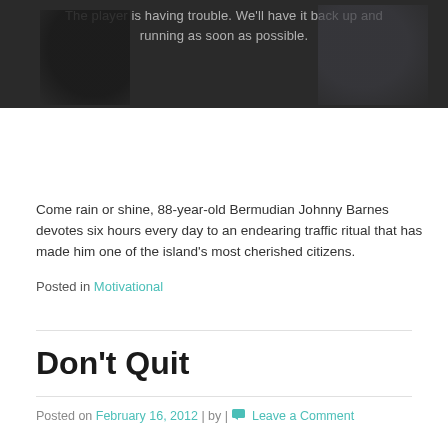[Figure (photo): Dark background image with two shadowy figures and overlaid text reading: 'The player is having trouble. We'll have it back up and running as soon as possible.']
Come rain or shine, 88-year-old Bermudian Johnny Barnes devotes six hours every day to an endearing traffic ritual that has made him one of the island's most cherished citizens.
Posted in Motivational
Don't Quit
Posted on February 16, 2012 | by | Leave a Comment